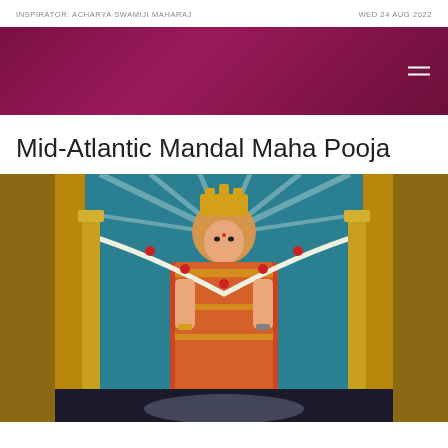INSPIRATOR: ACHARYA SWAMIJI MAHARAJ | WED 24 AUG 2022
Mid-Atlantic Mandal Maha Pooja
[Figure (photo): Photograph of a deity portrait in an ornate gold frame with teal background. The deity is dressed in colorful royal attire with a decorated crown, holding items in both hands, with a garland of white flowers with red accents draped across the frame. Golden pillars flank the portrait.]